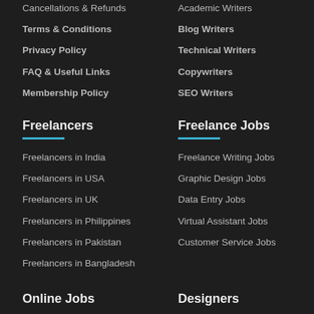Cancellations & Refunds
Academic Writers
Terms & Conditions
Blog Writers
Privacy Policy
Technical Writers
FAQ & Useful Links
Copywriters
Membership Policy
SEO Writers
Freelancers
Freelance Jobs
Freelancers in India
Freelance Writing Jobs
Freelancers in USA
Graphic Design Jobs
Freelancers in UK
Data Entry Jobs
Freelancers in Philippines
Virtual Assistant Jobs
Freelancers in Pakistan
Customer Service Jobs
Freelancers in Bangladesh
Online Jobs
Designers